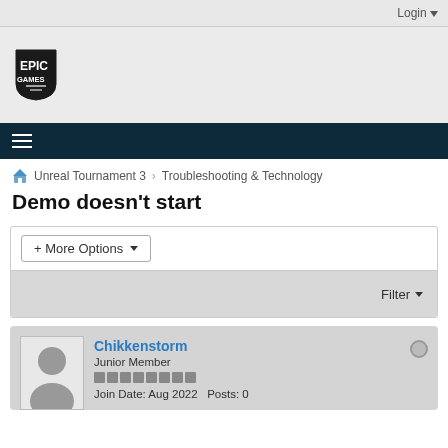Login ▾
[Figure (logo): Epic Games shield logo with text EPIC GAMES]
≡ (hamburger menu icon)
Unreal Tournament 3  Troubleshooting & Technology
Demo doesn't start
+ More Options ▾
Filter ▾
Chikkenstorm
Junior Member
Join Date: Aug 2022   Posts: 0